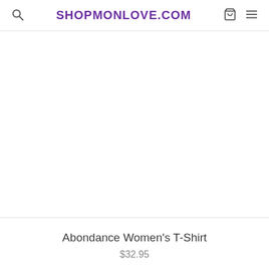SHOPMONLOVE.COM
[Figure (photo): Product image area — white/blank space where an Abondance Women's T-Shirt photo would appear]
Abondance Women's T-Shirt
$32.95